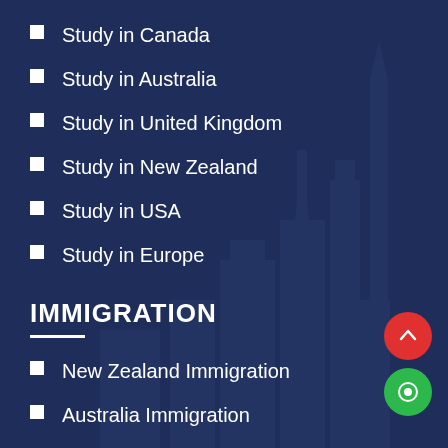Study in Canada
Study in Australia
Study in United Kingdom
Study in New Zealand
Study in USA
Study in Europe
IMMIGRATION
New Zealand Immigration
Australia Immigration
Canada immigration